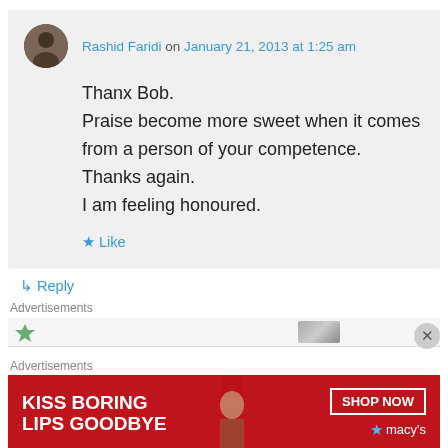Rashid Faridi on January 21, 2013 at 1:25 am
Thanx Bob.
Praise become more sweet when it comes from a person of your competence.
Thanks again.
I am feeling honoured.
★ Like
↳ Reply
Advertisements
Advertisements
[Figure (screenshot): Advertisement banner for Macy's: red background with text KISS BORING LIPS GOODBYE, SHOP NOW button, and Macy's star logo]